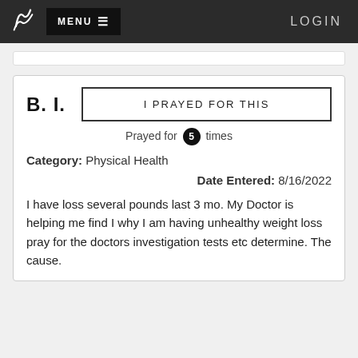MENU LOGIN
B. I.
I PRAYED FOR THIS
Prayed for 5 times
Category: Physical Health
Date Entered: 8/16/2022
I have loss several pounds last 3 mo. My Doctor is helping me find I why I am having unhealthy weight loss pray for the doctors investigation tests etc determine. The cause.